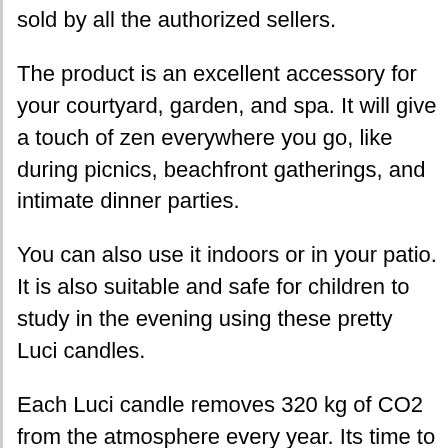sold by all the authorized sellers.
The product is an excellent accessory for your courtyard, garden, and spa. It will give a touch of zen everywhere you go, like during picnics, beachfront gatherings, and intimate dinner parties.
You can also use it indoors or in your patio. It is also suitable and safe for children to study in the evening using these pretty Luci candles.
Each Luci candle removes 320 kg of CO2 from the atmosphere every year. Its time to replace those toxic & expensive kerosene lamps with Luci candles.
Avail this product at Amazon and make a